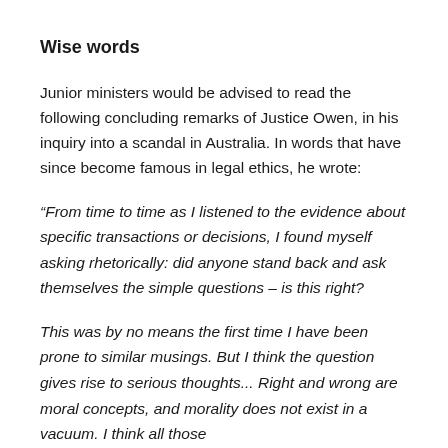Wise words
Junior ministers would be advised to read the following concluding remarks of Justice Owen, in his inquiry into a scandal in Australia. In words that have since become famous in legal ethics, he wrote:
“From time to time as I listened to the evidence about specific transactions or decisions, I found myself asking rhetorically: did anyone stand back and ask themselves the simple questions – is this right?
This was by no means the first time I have been prone to similar musings. But I think the question gives rise to serious thoughts... Right and wrong are moral concepts, and morality does not exist in a vacuum. I think all those